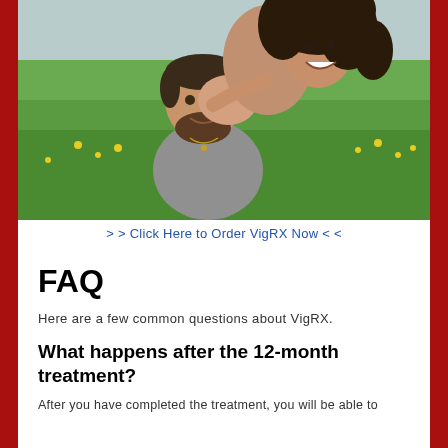[Figure (photo): A happy couple outdoors in a green field with yellow flowers. A woman with curly hair is on the man's back, both smiling and laughing. The man has a beard and is wearing a grey hoodie.]
> > Click Here to Order VigRX Now < <
FAQ
Here are a few common questions about VigRX.
What happens after the 12-month treatment?
After you have completed the treatment, you will be able to...